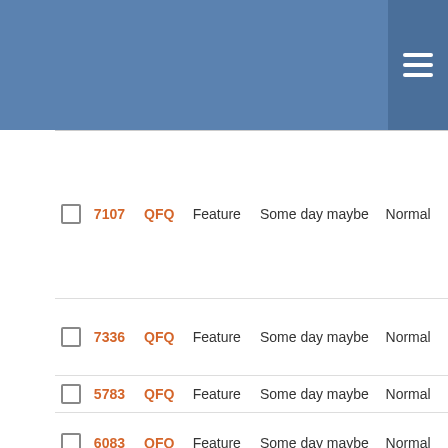|  | ID | Project | Type | Milestone | Priority | Description |
| --- | --- | --- | --- | --- | --- | --- |
| ☐ | 7107 | QFQ | Feature | Some day maybe | Normal | bo... Sh Re Ar Ac Li / E |
| ☐ | 7336 | QFQ | Feature | Some day maybe | Normal | Pl di sp in |
| ☐ | 5783 | QFQ | Feature | Some day maybe | Normal | Br |
| ☐ | 6083 | QFQ | Feature | Some day maybe | Normal | Dy Va So |
| ☐ | 6299 | QFQ | Feature | Some day maybe | Normal | At lo im |
| ☐ | 6288 | QFQ | Feature | Some day maybe | Normal | Be Er ei in ka |